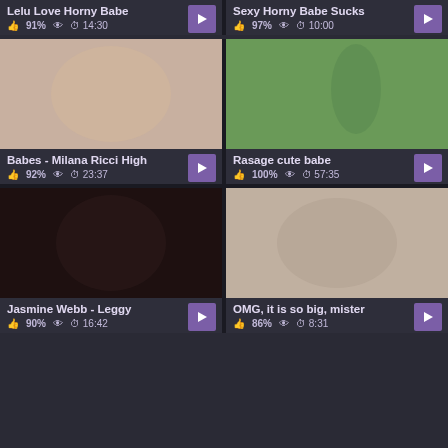[Figure (screenshot): Video thumbnail grid showing adult video website with 6 video cards]
Lelu Love Horny Babe | 91% | 14:30
Sexy Horny Babe Sucks | 97% | 10:00
Babes - Milana Ricci High | 92% | 23:37
Rasage cute babe | 100% | 57:35
Jasmine Webb - Leggy | 90% | 16:42
OMG, it is so big, mister | 86% | 8:31